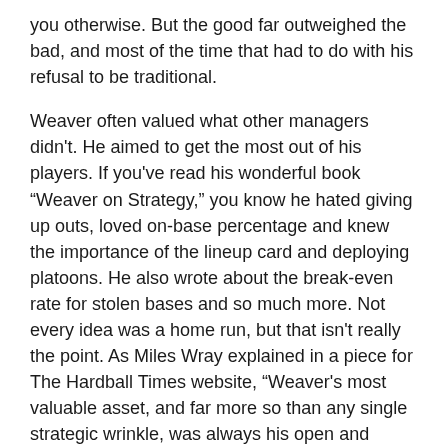you otherwise. But the good far outweighed the bad, and most of the time that had to do with his refusal to be traditional.
Weaver often valued what other managers didn't. He aimed to get the most out of his players. If you've read his wonderful book “Weaver on Strategy,” you know he hated giving up outs, loved on-base percentage and knew the importance of the lineup card and deploying platoons. He also wrote about the break-even rate for stolen bases and so much more. Not every idea was a home run, but that isn't really the point. As Miles Wray explained in a piece for The Hardball Times website, “Weaver's most valuable asset, and far more so than any single strategic wrinkle, was always his open and receptive mind.”
The Orioles, to some extent, thought this way under Dan Duquette and Buck Showalter, but mainly at the major-league level. They didn't continue if something of frustration